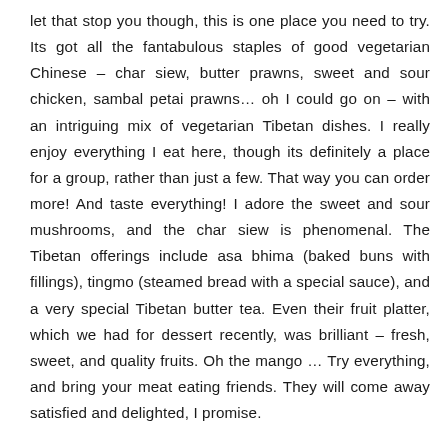let that stop you though, this is one place you need to try. Its got all the fantabulous staples of good vegetarian Chinese – char siew, butter prawns, sweet and sour chicken, sambal petai prawns… oh I could go on – with an intriguing mix of vegetarian Tibetan dishes. I really enjoy everything I eat here, though its definitely a place for a group, rather than just a few. That way you can order more! And taste everything! I adore the sweet and sour mushrooms, and the char siew is phenomenal. The Tibetan offerings include asa bhima (baked buns with fillings), tingmo (steamed bread with a special sauce), and a very special Tibetan butter tea. Even their fruit platter, which we had for dessert recently, was brilliant – fresh, sweet, and quality fruits. Oh the mango … Try everything, and bring your meat eating friends. They will come away satisfied and delighted, I promise.